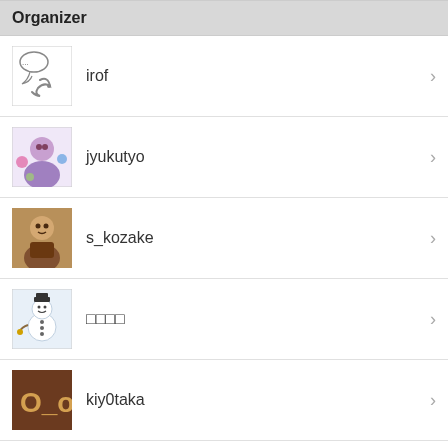Organizer
irof
jyukutyo
s_kozake
□□□□
kiy0taka
tan_go238
Event Organizer Contact PC
Feed